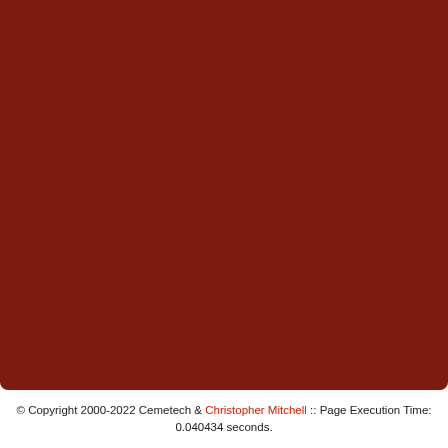[Figure (other): Large dark red/maroon background rectangle filling the upper portion of the page]
© Copyright 2000-2022 Cemetech & Christopher Mitchell :: Page Execution Time: 0.040434 seconds.